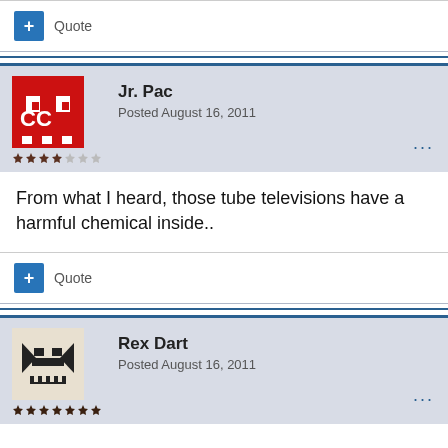[Figure (screenshot): Top separator with quote button row]
Quote
[Figure (screenshot): Post by Jr. Pac with avatar, username, date, star rating]
Jr. Pac
Posted August 16, 2011
From what I heard, those tube televisions have a harmful chemical inside..
Quote
[Figure (screenshot): Post by Rex Dart with avatar, username, date, star rating]
Rex Dart
Posted August 16, 2011